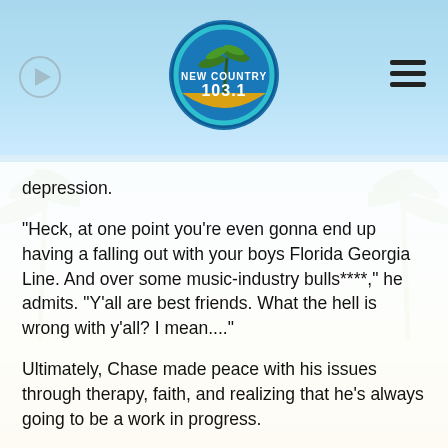[Figure (logo): New Country 103.1 radio station logo — circular badge with palm tree, blue and orange colors]
depression.
"Heck, at one point you're even gonna end up having a falling out with your boys Florida Georgia Line. And over some music-industry bulls****," he admits. "Y'all are best friends. What the hell is wrong with y'all? I mean...."
Ultimately, Chase made peace with his issues through therapy, faith, and realizing that he's always going to be a work in progress.
"And every time I step on stage, no matter how good or bad I'm feeling, no matter what s*** went down that day, I do it...with the same three words that Dad tried to teach me," he concludes. "The three words